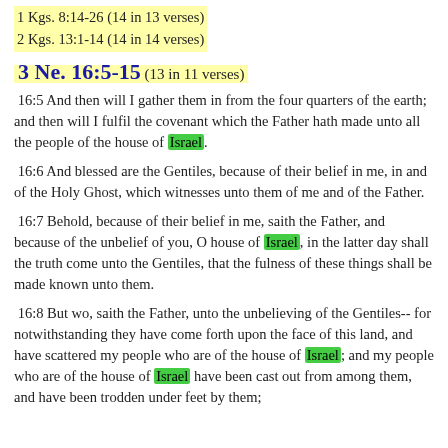1 Kgs. 8:14-26 (14 in 13 verses)
2 Kgs. 13:1-14 (14 in 14 verses)
3 Ne. 16:5-15 (13 in 11 verses)
16:5 And then will I gather them in from the four quarters of the earth; and then will I fulfil the covenant which the Father hath made unto all the people of the house of Israel.
16:6 And blessed are the Gentiles, because of their belief in me, in and of the Holy Ghost, which witnesses unto them of me and of the Father.
16:7 Behold, because of their belief in me, saith the Father, and because of the unbelief of you, O house of Israel, in the latter day shall the truth come unto the Gentiles, that the fulness of these things shall be made known unto them.
16:8 But wo, saith the Father, unto the unbelieving of the Gentiles-- for notwithstanding they have come forth upon the face of this land, and have scattered my people who are of the house of Israel; and my people who are of the house of Israel have been cast out from among them, and have been trodden under feet by them;